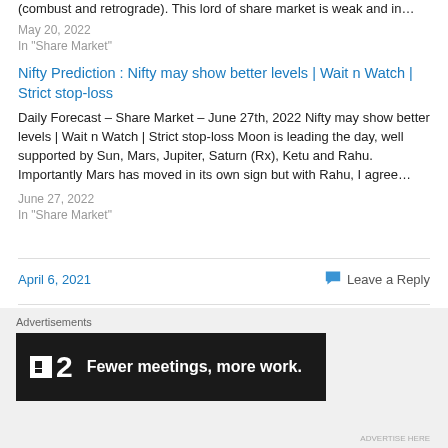(combust and retrograde). This lord of share market is weak and in…
May 20, 2022
In "Share Market"
Nifty Prediction : Nifty may show better levels | Wait n Watch | Strict stop-loss
Daily Forecast – Share Market – June 27th, 2022 Nifty may show better levels | Wait n Watch | Strict stop-loss Moon is leading the day, well supported by Sun, Mars, Jupiter, Saturn (Rx), Ketu and Rahu. Importantly Mars has moved in its own sign but with Rahu, I agree…
June 27, 2022
In "Share Market"
April 6, 2021
Leave a Reply
Advertisements
[Figure (other): Advertisement banner: dark background with logo showing a small white square and '2', tagline 'Fewer meetings, more work.']